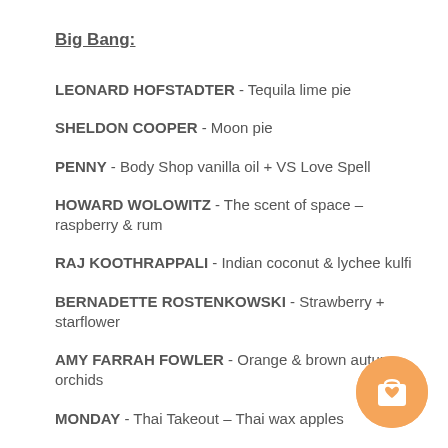Big Bang:
LEONARD HOFSTADTER - Tequila lime pie
SHELDON COOPER - Moon pie
PENNY - Body Shop vanilla oil + VS Love Spell
HOWARD WOLOWITZ - The scent of space – raspberry & rum
RAJ KOOTHRAPPALI - Indian coconut & lychee kulfi
BERNADETTE ROSTENKOWSKI - Strawberry + starflower
AMY FARRAH FOWLER - Orange & brown autumn orchids
MONDAY - Thai Takeout – Thai wax apples
TUESDAY - Cheesecake Factory - Carrot cake